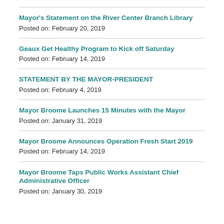Mayor's Statement on the River Center Branch Library
Posted on: February 20, 2019
Geaux Get Healthy Program to Kick off Saturday
Posted on: February 14, 2019
STATEMENT BY THE MAYOR-PRESIDENT
Posted on: February 4, 2019
Mayor Broome Launches 15 Minutes with the Mayor
Posted on: January 31, 2019
Mayor Broome Announces Operation Fresh Start 2019
Posted on: February 14, 2019
Mayor Broome Taps Public Works Assistant Chief Administrative Officer
Posted on: January 30, 2019